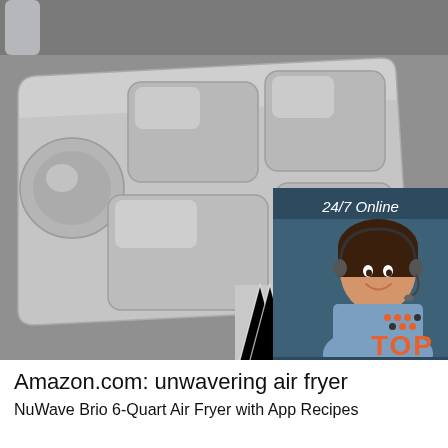[Figure (photo): Stainless steel divided lunch tray/food tray with multiple compartments (4 rectangular sections and 1 round section), placed on a gray surface with a geometric patterned textile. There is an overlay advertisement in the top-right corner showing a woman with a headset and text '24/7 Online', 'Click here for free chat!', 'QUOTATION'. A 'TOP' badge with orange dots appears in the lower-right area of the image.]
Amazon.com: unwavering air fryer
NuWave Brio 6-Quart Air Fryer with App Recipes